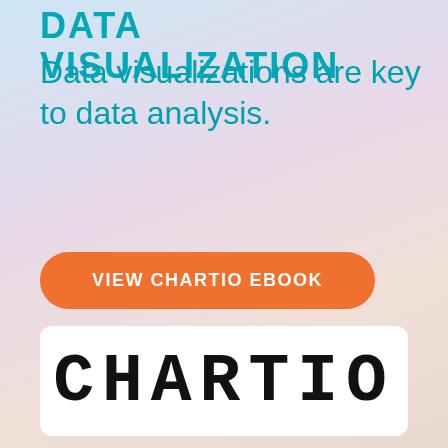DATA VISUALIZATION
Data visualizations are key to data analysis.
[Figure (other): Orange rounded rectangle call-to-action button reading VIEW CHARTIO EBOOK]
[Figure (logo): Chartio logo — white rounded rectangle with bold monospace text CHARTIO]